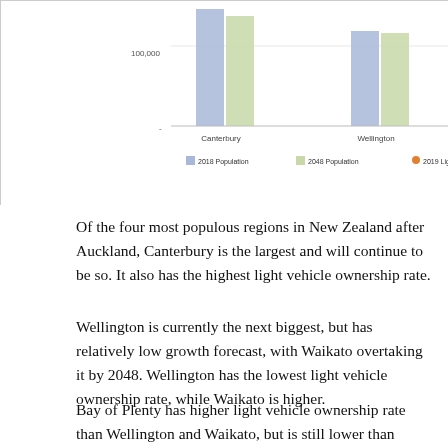[Figure (grouped-bar-chart): ]
Of the four most populous regions in New Zealand after Auckland, Canterbury is the largest and will continue to be so. It also has the highest light vehicle ownership rate.
Wellington is currently the next biggest, but has relatively low growth forecast, with Waikato overtaking it by 2048. Wellington has the lowest light vehicle ownership rate, while Waikato is higher.
Bay of Plenty has higher light vehicle ownership rate than Wellington and Waikato, but is still lower than Canterbury, and has significantly lower population than the